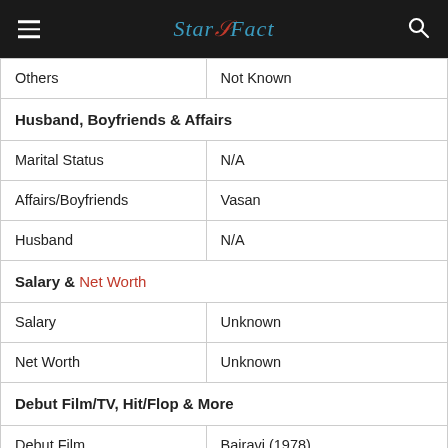StarSFact
| Others | Not Known |
| Husband, Boyfriends & Affairs |  |
| Marital Status | N/A |
| Affairs/Boyfriends | Vasan |
| Husband | N/A |
| Salary & Net Worth |  |
| Salary | Unknown |
| Net Worth | Unknown |
| Debut Film/TV, Hit/Flop & More |  |
| Debut Film | Bairavi (1978) |
| Debut TV | N/A |
| Popular/Hit/Flop Films | Filmography |
| Favourite, Hobbies, Likes & Dislikes |  |